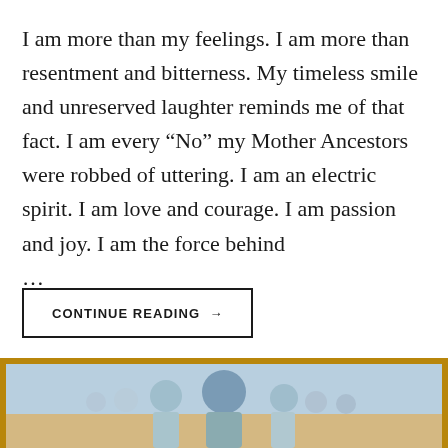I am more than my feelings. I am more than resentment and bitterness. My timeless smile and unreserved laughter reminds me of that fact. I am every “No” my Mother Ancestors were robbed of uttering. I am an electric spirit. I am love and courage. I am passion and joy. I am the force behind ...
CONTINUE READING →
[Figure (photo): A photo strip at the bottom of the page showing people in a group setting with a warm golden/brown frame border. The image shows partial view of figures against a blue-toned background.]